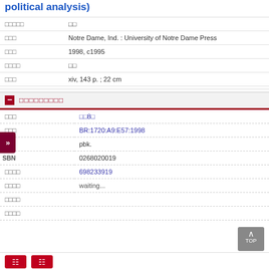political analysis)
| field | value |
| --- | --- |
| □□□□□ | □□ |
| □□□ | Notre Dame, Ind. : University of Notre Dame Press |
| □□□ | 1998, c1995 |
| □□□□ | □□ |
| □□□ | xiv, 143 p. ; 22 cm |
□□□□□□□□□
| field | value |
| --- | --- |
| □□□ | □□8□ |
| □□□ | BR:1720:A9:E57:1998 |
| □ | pbk. |
| ISBN | 0268020019 |
| □□□□ | 698233919 |
| □□□□ | waiting... |
| □□□□ |  |
| □□□□ |  |